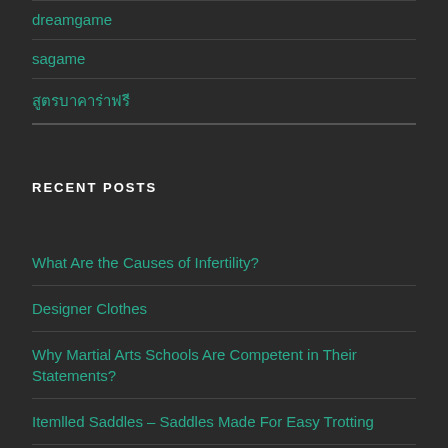dreamgame
sagame
สูตรบาคาร่าฟรี
RECENT POSTS
What Are the Causes of Infertility?
Designer Clothes
Why Martial Arts Schools Are Competent in Their Statements?
Itemlled Saddles – Saddles Made For Easy Trotting